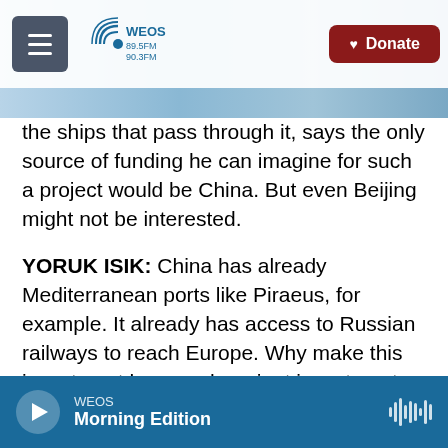WEOS 89.5FM 90.3FM — Donate
the ships that pass through it, says the only source of funding he can imagine for such a project would be China. But even Beijing might not be interested.
YORUK ISIK: China has already Mediterranean ports like Piraeus, for example. It already has access to Russian railways to reach Europe. Why make this investment here such a giant investment where the returns are very questionable?
KENYON: Isik says it's astonishing to him how few studies have been done on how much revenue this project would bring in compared with its huge cost,
WEOS Morning Edition